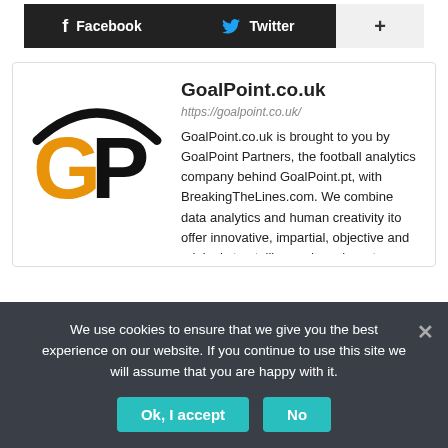[Figure (screenshot): Social sharing buttons: Facebook, Twitter, and a plus (+) button]
[Figure (logo): GoalPoint GP logo — orange G and black P letters with a black arc above]
GoalPoint.co.uk
https://goalpoint.co.uk/
GoalPoint.co.uk is brought to you by GoalPoint Partners, the football analytics company behind GoalPoint.pt, with BreakingTheLines.com. We combine data analytics and human creativity ito offer innovative, impartial, objective and original storytelling and services, to
We use cookies to ensure that we give you the best experience on our website. If you continue to use this site we will assume that you are happy with it.
Ok, I accept
No